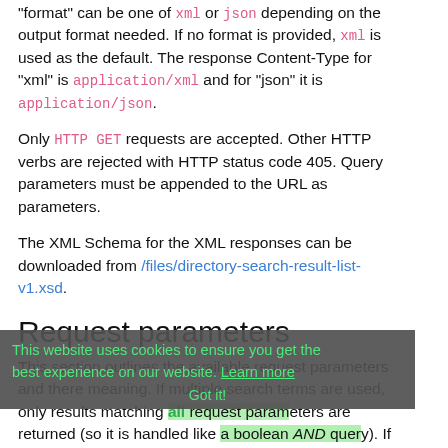The base URL to query is /search/v1/{format} where "format" can be one of xml or json depending on the output format needed. If no format is provided, xml is used as the default. The response Content-Type for "xml" is application/xml and for "json" it is application/json.
Only HTTP GET requests are accepted. Other HTTP verbs are rejected with HTTP status code 405. Query parameters must be appended to the URL as parameters.
The XML Schema for the XML responses can be downloaded from /files/directory-search-result-list-v1.xsd.
Request parameters
This section outlines the available request parameters and there meaning. If multiple search terms are used, only results matching all request parameters are returned (so it is handled like a boolean AND query). If the combination of query parameters resulted in an empty search result, an HTTP status code 200 with an empty result body is
[Figure (screenshot): Cookie consent banner overlay with green text: 'This website uses cookies to ensure you get the best experience on our website. Learn more' and a 'Got it!' button]